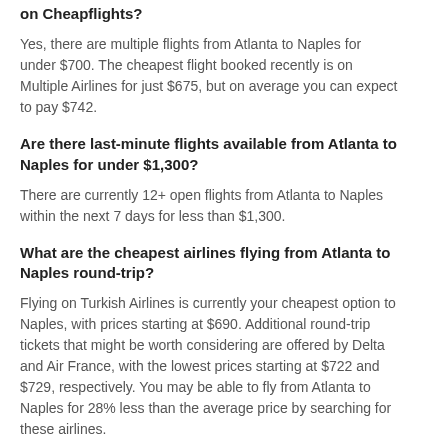on Cheapflights?
Yes, there are multiple flights from Atlanta to Naples for under $700. The cheapest flight booked recently is on Multiple Airlines for just $675, but on average you can expect to pay $742.
Are there last-minute flights available from Atlanta to Naples for under $1,300?
There are currently 12+ open flights from Atlanta to Naples within the next 7 days for less than $1,300.
What are the cheapest airlines flying from Atlanta to Naples round-trip?
Flying on Turkish Airlines is currently your cheapest option to Naples, with prices starting at $690. Additional round-trip tickets that might be worth considering are offered by Delta and Air France, with the lowest prices starting at $722 and $729, respectively. You may be able to fly from Atlanta to Naples for 28% less than the average price by searching for these airlines.